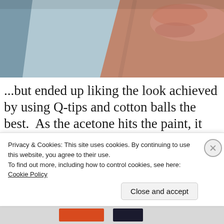[Figure (photo): A photograph showing a hand (skin tones, orange-brown) against a blue-grey background or surface, cropped at the top of the page.]
...but ended up liking the look achieved by using Q-tips and cotton balls the best.  As the acetone hits the paint, it tends to smear the black beneath into the top coat so I messed
Privacy & Cookies: This site uses cookies. By continuing to use this website, you agree to their use.
To find out more, including how to control cookies, see here: Cookie Policy
Close and accept